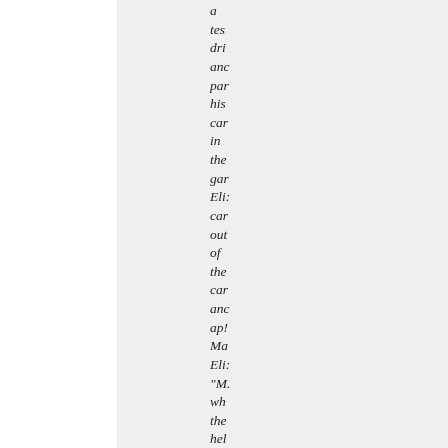a tes dri anc par his car in the gar Eli: car out of the car anc ap! Ma Eli: "M. wh the hel